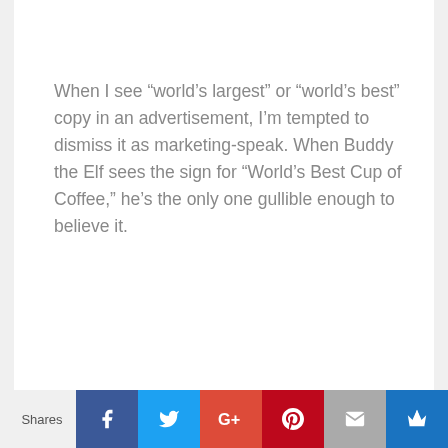When I see “world’s largest” or “world’s best” copy in an advertisement, I’m tempted to dismiss it as marketing-speak. When Buddy the Elf sees the sign for “World’s Best Cup of Coffee,” he’s the only one gullible enough to believe it.
Shares